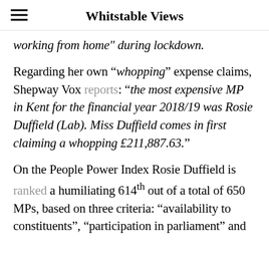Whitstable Views
working from home" during lockdown.
Regarding her own “whopping” expense claims, Shepway Vox reports: “the most expensive MP in Kent for the financial year 2018/19 was Rosie Duffield (Lab). Miss Duffield comes in first claiming a whopping £211,887.63.”
On the People Power Index Rosie Duffield is ranked a humiliating 614th out of a total of 650 MPs, based on three criteria: “availability to constituents”, “participation in parliament” and